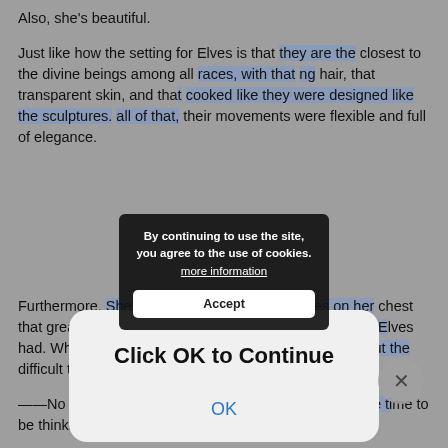Also, she's beautiful.
Just like how the setting for Elves is that they are the closest to the divine beings among all races, with that flowing hair, that transparent skin, and that face that looked like they were designed like the sculptures. On top of all of that, their movements were flexible and full of elegance.
[Figure (screenshot): Cookie consent banner overlay with dark background reading: 'By continuing to use the site, you agree to the use of cookies. more information' with Accept button]
Furthermore, Shera possessed abundant bulges on her chest that greatly differed from the flat-chested image that the Elves had. When he looks at Shera, he ends up bothersome about the difficult things like safety and adventuring.
[Figure (screenshot): Modal dialog with light gray background reading 'Click OK to Continue' with an OK button in blue text]
——No no no! Life is important! Okay said, this isn't the time to be thinking about that kind of stuff!
Be calm, be calm, is what Diablo told himself.
Shera put her hands on the bed and leaned her body forward.
「A-anyway! This is my self-introduction! So Diablo is fine with being my summoned beast, right!? Right!?」